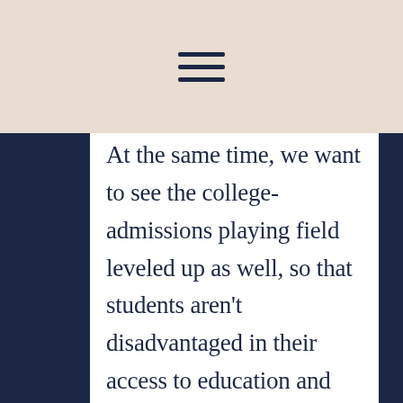[Figure (other): Hamburger menu icon (three horizontal lines) on beige background header]
At the same time, we want to see the college-admissions playing field leveled up as well, so that students aren't disadvantaged in their access to education and their readiness for college academics because of their income or background.
The current system is not working. Not enough high schoolers are developing the